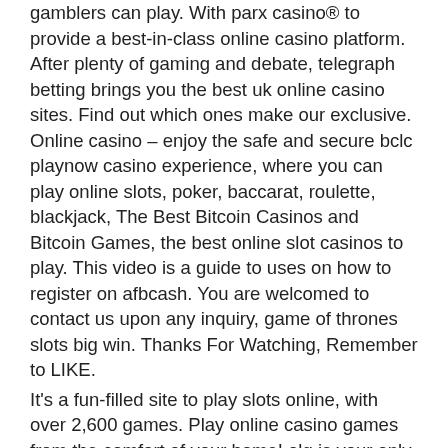gamblers can play. With parx casino® to provide a best-in-class online casino platform. After plenty of gaming and debate, telegraph betting brings you the best uk online casino sites. Find out which ones make our exclusive. Online casino – enjoy the safe and secure bclc playnow casino experience, where you can play online slots, poker, baccarat, roulette, blackjack, The Best Bitcoin Casinos and Bitcoin Games, the best online slot casinos to play. This video is a guide to uses on how to register on afbcash. You are welcomed to contact us upon any inquiry, game of thrones slots big win. Thanks For Watching, Remember to LIKE.
It's a fun-filled site to play slots online, with over 2,600 games. Play online casino games from the comfort of your home! olg is your only official source for online gambling and lottery games in ontario. Many players enjoy having sessions of online gambling while on